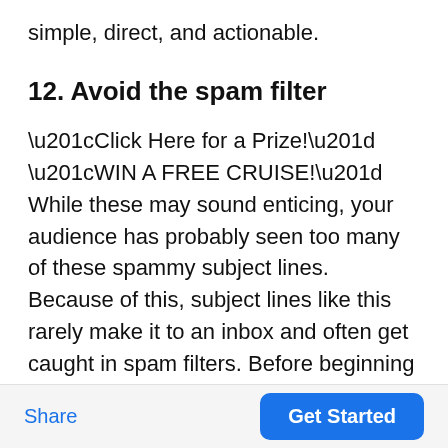simple, direct, and actionable.
12. Avoid the spam filter
“Click Here for a Prize!” “WIN A FREE CRUISE!” While these may sound enticing, your audience has probably seen too many of these spammy subject lines. Because of this, subject lines like this rarely make it to an inbox and often get caught in spam filters. Before beginning your email marketing efforts, it’s a good idea to familiarize
Share  |  Get Started